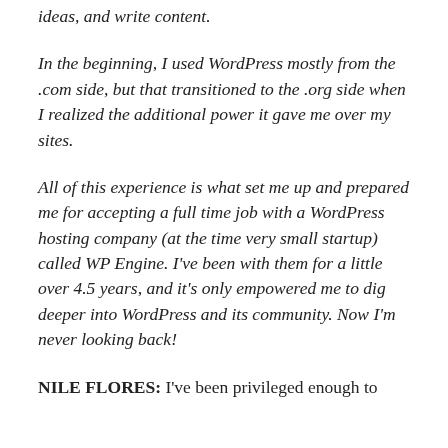ideas, and write content.
In the beginning, I used WordPress mostly from the .com side, but that transitioned to the .org side when I realized the additional power it gave me over my sites.
All of this experience is what set me up and prepared me for accepting a full time job with a WordPress hosting company (at the time very small startup) called WP Engine. I've been with them for a little over 4.5 years, and it's only empowered me to dig deeper into WordPress and its community. Now I'm never looking back!
NILE FLORES: I've been privileged enough to